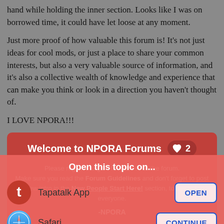hand while holding the inner section. Looks like I was on borrowed time, it could have let loose at any moment.
Just more proof of how valuable this forum is! It's not just ideas for cool mods, or just a place to share your common interests, but also a very valuable source of information, and it's also a collective wealth of knowledge and experience that can make you think or look in a direction you haven't thought of.
I LOVE NPORA!!!
[Figure (screenshot): Welcome to NPORA Forums banner with red background, heart like button showing count of 2, and registration prompt text. Below is an app chooser overlay with options for Tapatalk App and Safari with OPEN and CONTINUE buttons.]